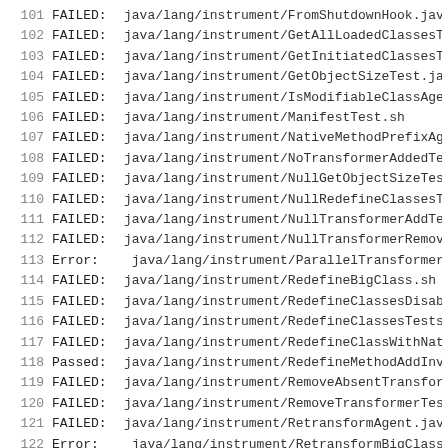101   FAILED: java/lang/instrument/FromShutdownHook.jav
102   FAILED: java/lang/instrument/GetAllLoadedClassesT
103   FAILED: java/lang/instrument/GetInitiatedClassesT
104   FAILED: java/lang/instrument/GetObjectSizeTest.ja
105   FAILED: java/lang/instrument/IsModifiableClassAge
106   FAILED: java/lang/instrument/ManifestTest.sh
107   FAILED: java/lang/instrument/NativeMethodPrefixAg
108   FAILED: java/lang/instrument/NoTransformerAddedTe
109   FAILED: java/lang/instrument/NullGetObjectSizeTes
110   FAILED: java/lang/instrument/NullRedefineClassesT
111   FAILED: java/lang/instrument/NullTransformerAddTe
112   FAILED: java/lang/instrument/NullTransformerRemov
113   Error:  java/lang/instrument/ParallelTransformerL
114   FAILED: java/lang/instrument/RedefineBigClass.sh
115   FAILED: java/lang/instrument/RedefineClassesDisab
116   FAILED: java/lang/instrument/RedefineClassesTests
117   FAILED: java/lang/instrument/RedefineClassWithNat
118   Passed: java/lang/instrument/RedefineMethodAddInv
119   FAILED: java/lang/instrument/RemoveAbsentTransfor
120   FAILED: java/lang/instrument/RemoveTransformerTes
121   FAILED: java/lang/instrument/RetransformAgent.jav
122   Error:  java/lang/instrument/RetransformBigClass.
123   FAILED: java/lang/instrument/SingleTransformerTe